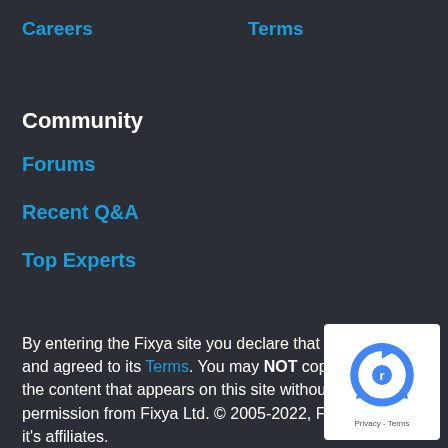Careers
Terms
Community
Forums
Recent Q&A
Top Experts
By entering the Fixya site you declare that you have read and agreed to its Terms. You may NOT copy or distribute the content that appears on this site without written permission from Fixya Ltd. © 2005-2022, Fixya, Ltd. or it's affiliates.
[Figure (logo): reCAPTCHA logo badge with Privacy and Terms text]